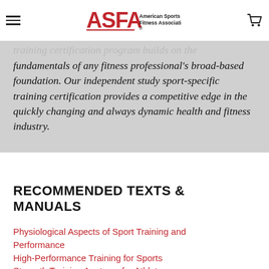ASFA American Sports & Fitness Association
fundamentals of any fitness professional's broad-based foundation. Our independent study sport-specific training certification provides a competitive edge in the quickly changing and always dynamic health and fitness industry.
RECOMMENDED TEXTS & MANUALS
Physiological Aspects of Sport Training and Performance
High-Performance Training for Sports
Strength Training Anatomy for Athletes